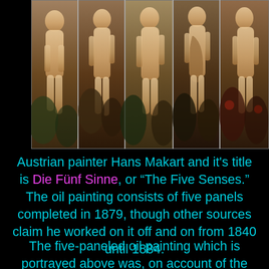[Figure (photo): A composite of five painted panels showing standing nude female figures against dark baroque backgrounds. The painting is 'Die Fünf Sinne' (The Five Senses) by Hans Makart.]
Austrian painter Hans Makart and it's title is Die Fünf Sinne, or "The Five Senses." The oil painting consists of five panels completed in 1879, though other sources claim he worked on it off and on from 1840 until 1884.
The five-paneled oil painting which is portrayed above was, on account of the notoriety of its author, one of the chief